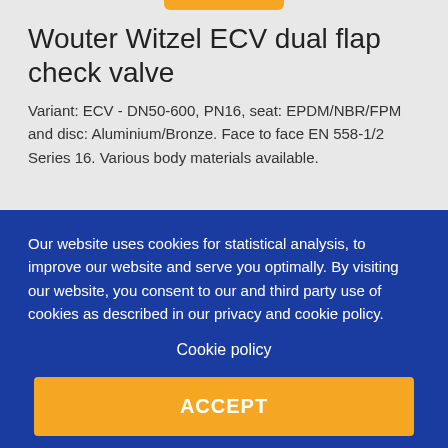Wouter Witzel ECV dual flap check valve
Variant: ECV - DN50-600, PN16, seat: EPDM/NBR/FPM and disc: Aluminium/Bronze. Face to face EN 558-1/2 Series 16. Various body materials available.
Our website uses cookies for statistical analysis, to improve our website and serve you optimally. By visiting our website, you consent to our and third party use of cookies as described in our privacy and cookie policy.
Cookie policy
ACCEPT